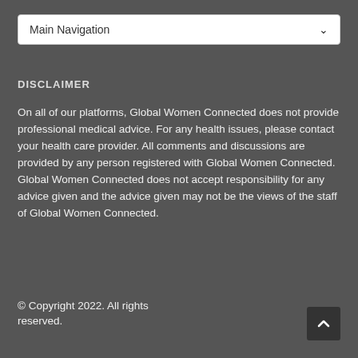Main Navigation
DISCLAIMER
On all of our platforms, Global Women Connected does not provide professional medical advice. For any health issues, please contact your health care provider. All comments and discussions are provided by any person registered with Global Women Connected. Global Women Connected does not accept responsibility for any advice given and the advice given may not be the views of the staff of Global Women Connected.
© Copyright 2022. All rights reserved.